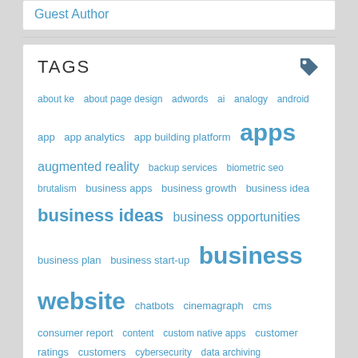Guest Author
TAGS
about ke  about page design  adwords  ai  analogy  android  app  app analytics  app building platform  apps  augmented reality  backup services  biometric seo  brutalism  business apps  business growth  business idea  business ideas  business opportunities  business plan  business start-up  business website  chatbots  cinemagraph  cms  consumer report  content  custom native apps  customer ratings  customers  cybersecurity  data archiving  decemberapp campaign  design  device  digital business  disruptive tech  e-commerce  e-commerce website  ethics  events  f8 conference  facebook  facebook addiction  facebook buttons  first impression  flat desing  flow
This website makes use of cookies to enhance browsing experience and provide additional functionality. Details
Allow cookies
Disallow cookies